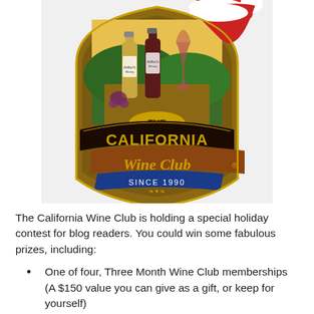[Figure (logo): The California Wine Club logo with a Santa hat, wine bottles and glass, dark shield-shaped badge with gold lettering reading 'THE CALIFORNIA Wine Club SINCE 1990' with registered trademark symbol]
The California Wine Club is holding a special holiday contest for blog readers. You could win some fabulous prizes, including:
One of four, Three Month Wine Club memberships (A $150 value you can give as a gift, or keep for yourself)